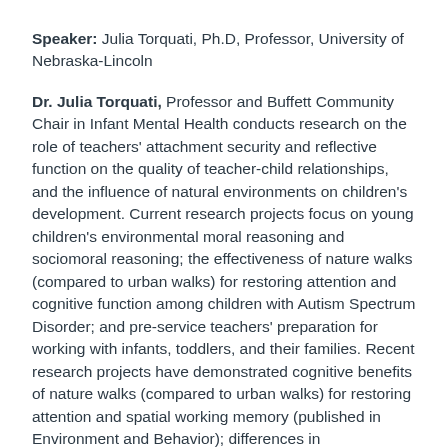Speaker: Julia Torquati, Ph.D, Professor, University of Nebraska-Lincoln
Dr. Julia Torquati, Professor and Buffett Community Chair in Infant Mental Health conducts research on the role of teachers' attachment security and reflective function on the quality of teacher-child relationships, and the influence of natural environments on children's development. Current research projects focus on young children's environmental moral reasoning and sociomoral reasoning; the effectiveness of nature walks (compared to urban walks) for restoring attention and cognitive function among children with Autism Spectrum Disorder; and pre-service teachers' preparation for working with infants, toddlers, and their families. Recent research projects have demonstrated cognitive benefits of nature walks (compared to urban walks) for restoring attention and spatial working memory (published in Environment and Behavior); differences in neuroelectrical activity outdoors compared to indoors